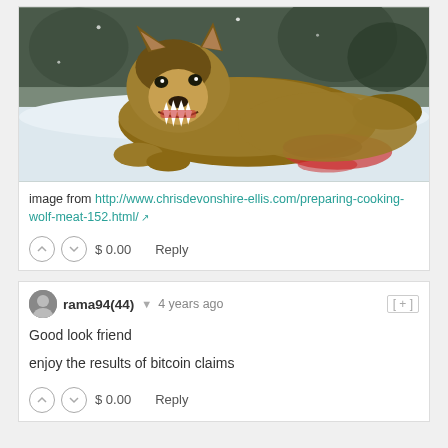[Figure (photo): A wolf snarling and lying on snow, holding a carcass with blood visible.]
image from http://www.chrisdevonshire-ellis.com/preparing-cooking-wolf-meat-152.html/
$ 0.00   Reply
rama94(44) ▼  4 years ago  [+]
Good look friend
enjoy the results of bitcoin claims
$ 0.00   Reply